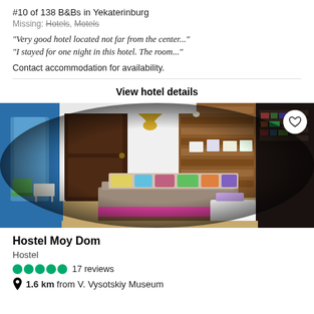#10 of 138 B&Bs in Yekaterinburg
Missing: Hotels, Motels
"Very good hotel located not far from the center..."
"I stayed for one night in this hotel. The room..."
Contact accommodation for availability.
View hotel details
[Figure (photo): Fisheye lens photo of a hostel room interior showing a sofa with colorful cushions, pink mattress on pallet bed, wooden accent wall with decorative antlers, dark wood door, blue curtained window, white coffee table, and bookshelves on the right.]
Hostel Moy Dom
Hostel
17 reviews
1.6 km from V. Vysotskiy Museum